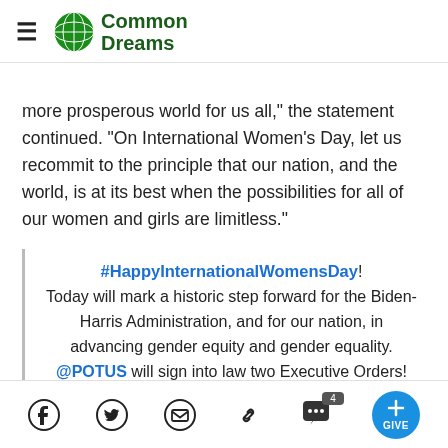Common Dreams
more prosperous world for us all," the statement continued. "On International Women's Day, let us recommit to the principle that our nation, and the world, is at its best when the possibilities for all of our women and girls are limitless."
#HappyInternationalWomensDay! Today will mark a historic step forward for the Biden-Harris Administration, and for our nation, in advancing gender equity and gender equality. @POTUS will sign into law two Executive Orders!
— White House Gender Policy Council